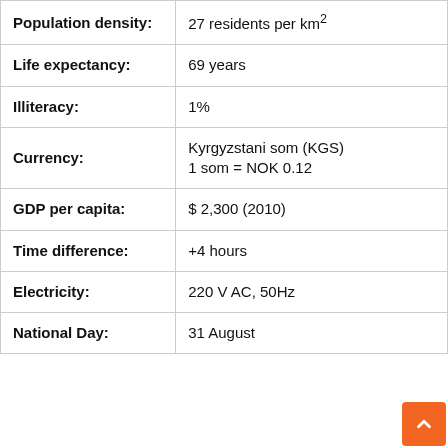| Field | Value |
| --- | --- |
| Population density: | 27 residents per km² |
| Life expectancy: | 69 years |
| Illiteracy: | 1% |
| Currency: | Kyrgyzstani som (KGS)
1 som = NOK 0.12 |
| GDP per capita: | $ 2,300 (2010) |
| Time difference: | +4 hours |
| Electricity: | 220 V AC, 50Hz |
| National Day: | 31 August |